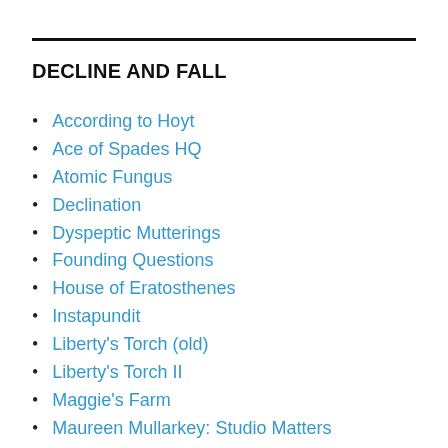DECLINE AND FALL
According to Hoyt
Ace of Spades HQ
Atomic Fungus
Declination
Dyspeptic Mutterings
Founding Questions
House of Eratosthenes
Instapundit
Liberty's Torch (old)
Liberty's Torch II
Maggie's Farm
Maureen Mullarkey: Studio Matters